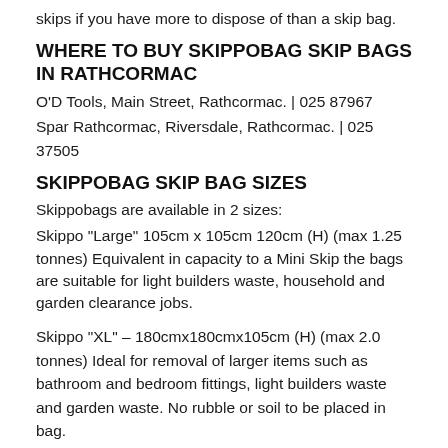skips if you have more to dispose of than a skip bag.
WHERE TO BUY SKIPPOBAG SKIP BAGS IN RATHCORMAC
O'D Tools, Main Street, Rathcormac. | 025 87967
Spar Rathcormac, Riversdale, Rathcormac. | 025 37505
SKIPPOBAG SKIP BAG SIZES
Skippobags are available in 2 sizes:
Skippo "Large" 105cm x 105cm 120cm (H) (max 1.25 tonnes) Equivalent in capacity to a Mini Skip the bags are suitable for light builders waste, household and garden clearance jobs.
Skippo "XL" – 180cmx180cmx105cm (H) (max 2.0 tonnes) Ideal for removal of larger items such as bathroom and bedroom fittings, light builders waste and garden waste. No rubble or soil to be placed in bag.
WHAT CAN I PUT IN A SKIPPOBAG SKIP BAG?
Skippobags are suitable for light builders waste and waste from household clearance jobs. No soil, rubble or any other heavy materials.